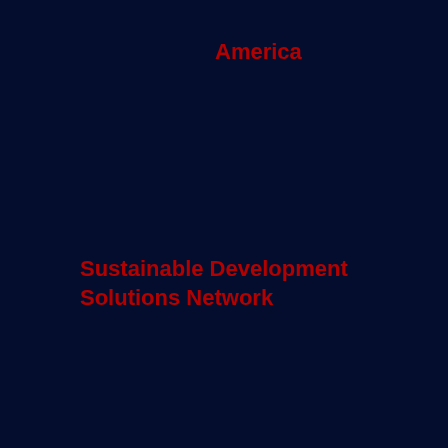America
Sustainable Development Solutions Network
United Nations Sustainable Development Goals (SDG)
Fast Company
Jessica Espey